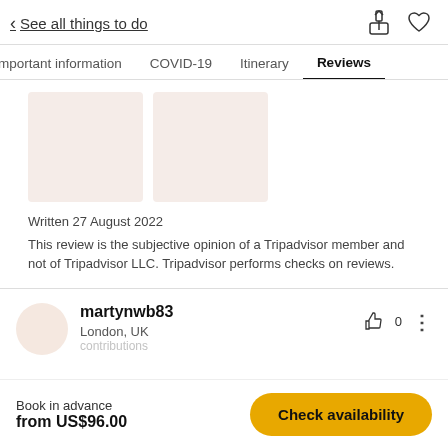< See all things to do
Important information  COVID-19  Itinerary  Reviews
[Figure (photo): Two placeholder image thumbnails with light pinkish-beige background]
Written 27 August 2022
This review is the subjective opinion of a Tripadvisor member and not of Tripadvisor LLC. Tripadvisor performs checks on reviews.
martynwb83
London, UK
Book in advance
from US$96.00
Check availability